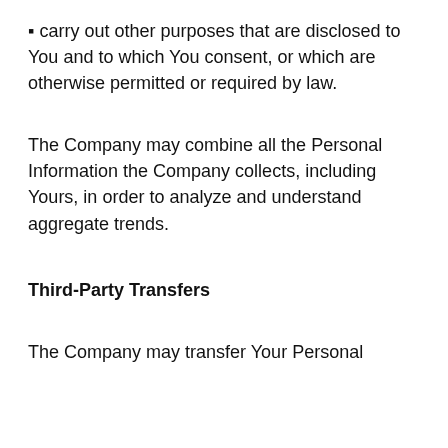• carry out other purposes that are disclosed to You and to which You consent, or which are otherwise permitted or required by law.
The Company may combine all the Personal Information the Company collects, including Yours, in order to analyze and understand aggregate trends.
Third-Party Transfers
The Company may transfer Your Personal